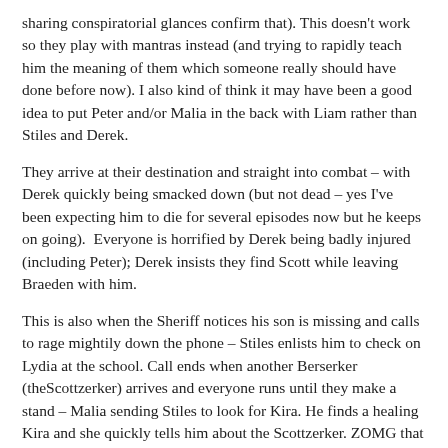sharing conspiratorial glances confirm that). This doesn't work so they play with mantras instead (and trying to rapidly teach him the meaning of them which someone really should have done before now). I also kind of think it may have been a good idea to put Peter and/or Malia in the back with Liam rather than Stiles and Derek.
They arrive at their destination and straight into combat – with Derek quickly being smacked down (but not dead – yes I've been expecting him to die for several episodes now but he keeps on going).  Everyone is horrified by Derek being badly injured (including Peter); Derek insists they find Scott while leaving Braeden with him.
This is also when the Sheriff notices his son is missing and calls to rage mightily down the phone – Stiles enlists him to check on Lydia at the school. Call ends when another Berserker (theScottzerker) arrives and everyone runs until they make a stand – Malia sending Stiles to look for Kira. He finds a healing Kira and she quickly tells him about the Scottzerker. ZOMG that means the gang could be killing Scott!